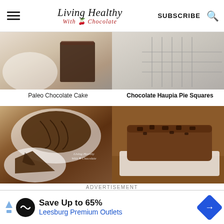Living Healthy With Chocolate — SUBSCRIBE
[Figure (photo): Paleo Chocolate Cake — a slice of chocolate cake on a plate, light background]
Paleo Chocolate Cake
[Figure (photo): Chocolate Haupia Pie Squares — pie bars on a cooling rack]
Chocolate Haupia Pie Squares
[Figure (photo): Chocolate tart slice on a white plate with Living Healthy With Chocolate watermark]
[Figure (photo): Chocolate chip loaf bread on a white serving board on a wooden surface]
ADVERTISEMENT
[Figure (infographic): Advertisement banner: Save Up to 65% Leesburg Premium Outlets]